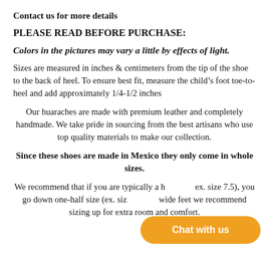Contact us for more details
PLEASE READ BEFORE PURCHASE:
Colors in the pictures may vary a little by effects of light.
Sizes are measured in inches & centimeters from the tip of the shoe to the back of heel. To ensure best fit, measure the child’s foot toe-to-heel and add approximately 1/4-1/2 inches
Our huaraches are made with premium leather and completely handmade. We take pride in sourcing from the best artisans who use top quality materials to make our collection.
Since these shoes are made in Mexico they only come in whole sizes.
We recommend that if you are typically a half size (ex. size 7.5), you go down one-half size (ex. size 7). For wide feet we recommend sizing up for extra room and comfort.